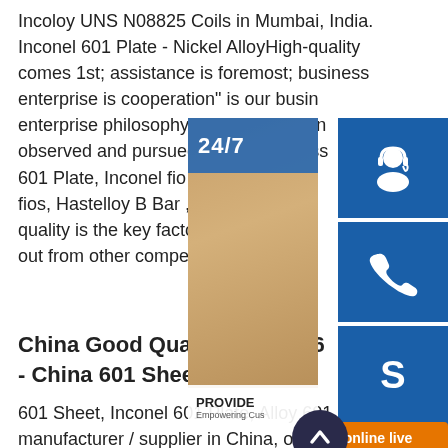Incoloy UNS N08825 Coils in Mumbai, India. Inconel 601 Plate - Nickel AlloyHigh-quality comes 1st; assistance is foremost; business enterprise is cooperation" is our business enterprise philosophy which is constantly observed and pursued by our business 601 Plate, Inconel fio 617 Welding, M fios, Hastelloy B Bar ,inconel 600 Bar quality is the key factor for the company out from other competitors.
[Figure (illustration): Customer service overlay panel with a woman wearing a headset, 24/7 label, headset icon button, phone icon button, Skype icon button, PROVIDE Empowering Cu... text, and online live orange button. Also a dark scroll-to-top button.]
China Good Quality Inconel 6 - China 601 Sheet
601 Sheet, Inconel 601 Plate, Alloy 601 Sheet manufacturer / supplier in China, offering Good Quality Inconel 601 Plate, High Quality ium Corrugated Tubes, The Best Offer for ium Corrugated Tubes and so on.